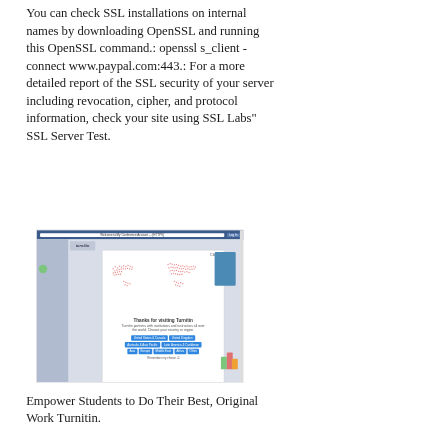You can check SSL installations on internal names by downloading OpenSSL and running this OpenSSL command.: openssl s_client -connect www.paypal.com:443.: For a more detailed report of the SSL security of your server including revocation, cipher, and protocol information, check your site using SSL Labs" SSL Server Test.
[Figure (screenshot): Screenshot of a web browser showing the Turnitin website with a popup modal saying 'Thanks for visiting Turnitin' with a world map graphic and region selection buttons including United States & Canada, United Kingdom, Australia & Asia Pacific, Latin America & Caribbean, Asia, Europe, Middle East, Africa, Other.]
Empower Students to Do Their Best, Original Work Turnitin.